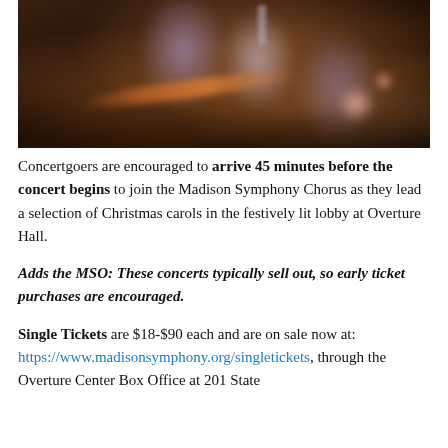[Figure (photo): A blurred, bokeh-heavy photo of performers on stage, likely a symphony or chorus, with violin bows and singers visible in purple/blue attire, warm orange bokeh lights in background.]
Concertgoers are encouraged to arrive 45 minutes before the concert begins to join the Madison Symphony Chorus as they lead a selection of Christmas carols in the festively lit lobby at Overture Hall.
Adds the MSO: These concerts typically sell out, so early ticket purchases are encouraged.
Single Tickets are $18-$90 each and are on sale now at: https://www.madisonsymphony.org/singletickets, through the Overture Center Box Office at 201 State